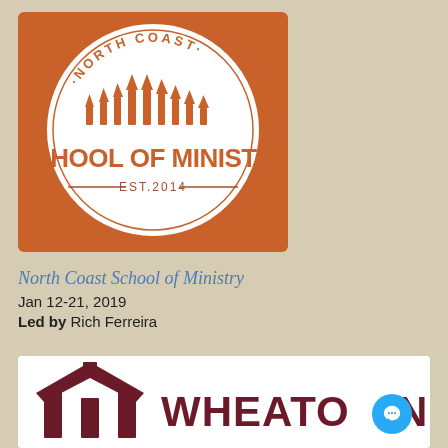[Figure (logo): North Coast School of Ministry circular logo with arrows pointing upward, brown/orange color scheme, EST. 2014 text, white circle on orange/brown square background]
North Coast School of Ministry
Jan 12-21, 2019
Led by Rich Ferreira
[Figure (logo): Wheaton college logo with dark maroon house/building icon mark on left and WHEATON text on right, white background]